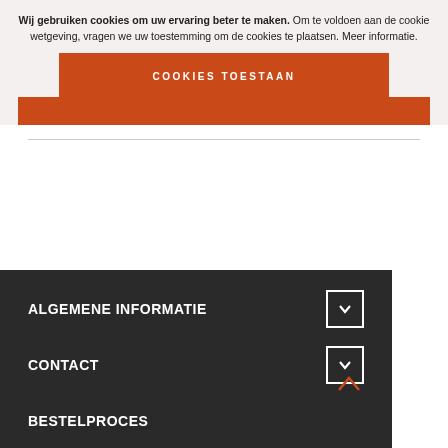Wij gebruiken cookies om uw ervaring beter te maken. Om te voldoen aan de cookie wetgeving, vragen we uw toestemming om de cookies te plaatsen. Meer informatie.
[Figure (screenshot): Orange button labeled COOKIES TOESTAAN]
ALGEMENE INFORMATIE
CONTACT
BESTELPROCES